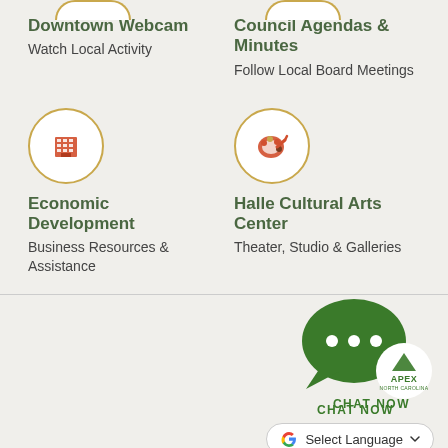[Figure (illustration): Partial golden circle icon at top left (webcam icon, cut off at top)]
[Figure (illustration): Partial golden circle icon at top right (council icon, cut off at top)]
Downtown Webcam
Watch Local Activity
Council Agendas & Minutes
Follow Local Board Meetings
[Figure (illustration): Golden circle with red building/office icon for Economic Development]
[Figure (illustration): Golden circle with red paint palette icon for Halle Cultural Arts Center]
Economic Development
Business Resources & Assistance
Halle Cultural Arts Center
Theater, Studio & Galleries
[Figure (illustration): Green chat bubble with three dots and Apex NC badge/logo overlay]
CHAT NOW
[Figure (illustration): Google G logo with Select Language dropdown button]
[Figure (illustration): Partial green circle icon at bottom center, cut off]